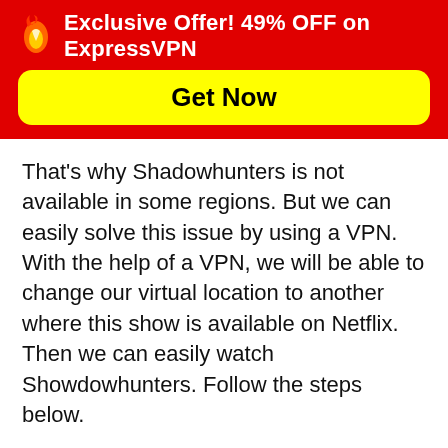Exclusive Offer! 49% OFF on ExpressVPN
Get Now
That's why Shadowhunters is not available in some regions. But we can easily solve this issue by using a VPN. With the help of a VPN, we will be able to change our virtual location to another where this show is available on Netflix. Then we can easily watch Showdowhunters. Follow the steps below.
Download ExpressVPN Now!
Get 3 extra months free with a 12-month